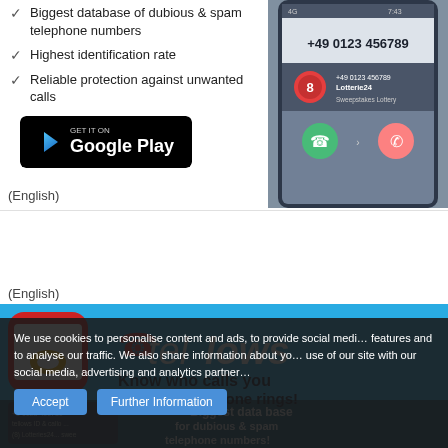Biggest database of dubious & spam telephone numbers
Highest identification rate
Reliable protection against unwanted calls
[Figure (screenshot): Get it on Google Play button]
[Figure (screenshot): Phone screen showing incoming call from +49 0123 456789, identified as Lotterie24 Sweepstakes Lottery with tellows score 8]
(English)
(English)
[Figure (illustration): Tellows app promotional banner showing red telephone app icon, tellows logo with tagline 'Know who calls you when the phone rings!' and app store download buttons. Phone screen shows +49 0123 456789, tellows ID & call..., (8) Lotteries24... swee, and text 'Biggest data base for dubious & spam telephone numbers']
We use cookies to personalise content and ads, to provide social media features and to analyse our traffic. We also share information about your use of our site with our social media, advertising and analytics partners.